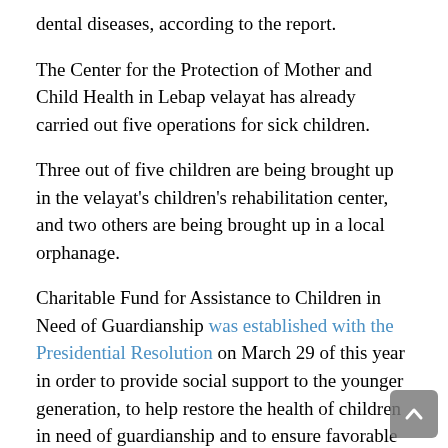dental diseases, according to the report.
The Center for the Protection of Mother and Child Health in Lebap velayat has already carried out five operations for sick children.
Three out of five children are being brought up in the velayat's children's rehabilitation center, and two others are being brought up in a local orphanage.
Charitable Fund for Assistance to Children in Need of Guardianship was established with the Presidential Resolution on March 29 of this year in order to provide social support to the younger generation, to help restore the health of children in need of guardianship and to ensure favorable conditions for their happy life.
In early August, the Turkmen Leader made a decision to allocate funds from the Charitable Fund to carry out medical operations to children in need of guardianship